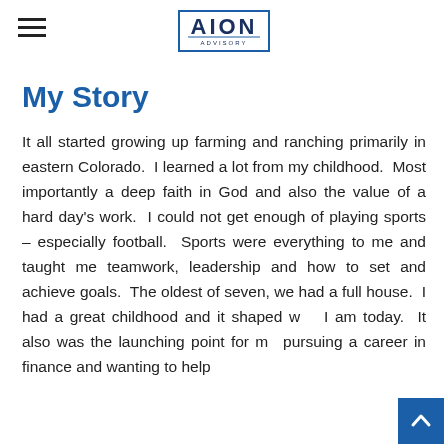AION ADVISORY
My Story
It all started growing up farming and ranching primarily in eastern Colorado.  I learned a lot from my childhood.  Most importantly a deep faith in God and also the value of a hard day's work.  I could not get enough of playing sports – especially football.  Sports were everything to me and taught me teamwork, leadership and how to set and achieve goals.  The oldest of seven, we had a full house.  I had a great childhood and it shaped who I am today.  It also was the launching point for me pursuing a career in finance and wanting to help